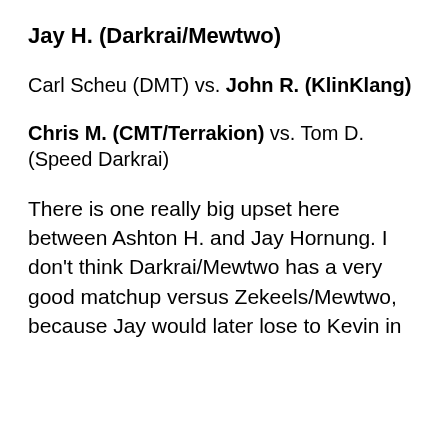Jay H. (Darkrai/Mewtwo)
Carl Scheu (DMT) vs. John R. (KlinKlang)
Chris M. (CMT/Terrakion) vs. Tom D. (Speed Darkrai)
There is one really big upset here between Ashton H. and Jay Hornung. I don't think Darkrai/Mewtwo has a very good matchup versus Zekeels/Mewtwo, because Jay would later lose to Kevin in